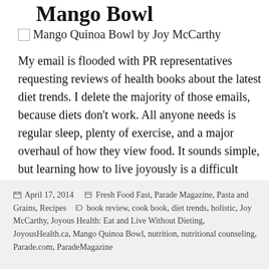Mango Bowl
[Figure (photo): Mango Quinoa Bowl by Joy McCarthy — broken/missing image placeholder with alt text]
My email is flooded with PR representatives requesting reviews of health books about the latest diet trends. I delete the majority of those emails, because diets don't work. All anyone needs is regular sleep, plenty of exercise, and a major overhaul of how they view food. It sounds simple, but learning how to live joyously is a difficult process that demands a lot of soul-searching.
Continue reading →
April 17, 2014   Fresh Food Fast, Parade Magazine, Pasta and Grains, Recipes   book review, cook book, diet trends, holistic, Joy McCarthy, Joyous Health: Eat and Live Without Dieting, JoyousHealth.ca, Mango Quinoa Bowl, nutrition, nutritional counseling, Parade.com, ParadeMagazine